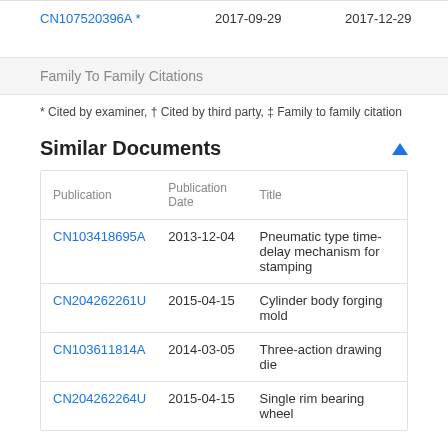|  |  |  |  |
| --- | --- | --- | --- |
| CN107520396A * | 2017-09-29 | 2017-12-29 | □□□□□ |
Family To Family Citations
* Cited by examiner, † Cited by third party, ‡ Family to family citation
Similar Documents
| Publication | Publication Date | Title |
| --- | --- | --- |
| CN103418695A | 2013-12-04 | Pneumatic type time-delay mechanism for stamping |
| CN204262261U | 2015-04-15 | Cylinder body forging mold |
| CN103611814A | 2014-03-05 | Three-action drawing die |
| CN204262264U | 2015-04-15 | Single rim bearing wheel |